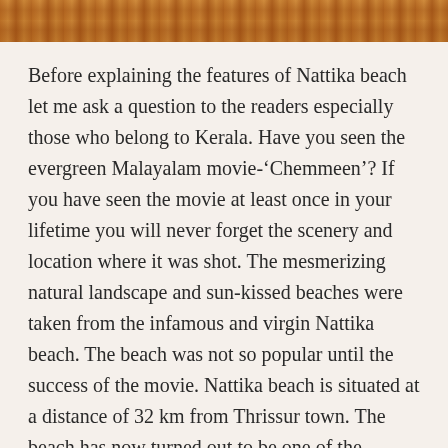[Figure (photo): Partial photo strip at the top showing what appears to be an animal with orange-brown fur or a beach/nature scene]
Before explaining the features of Nattika beach let me ask a question to the readers especially those who belong to Kerala. Have you seen the evergreen Malayalam movie-‘Chemmeen’? If you have seen the movie at least once in your lifetime you will never forget the scenery and location where it was shot. The mesmerizing natural landscape and sun-kissed beaches were taken from the infamous and virgin Nattika beach. The beach was not so popular until the success of the movie. Nattika beach is situated at a distance of 32 km from Thrissur town. The beach has now turned out to be one of the captivating tourist destinations in Kerala. The best way to explore the scintillating charm of the surrounding avail of a cruise and sail through the backwaters, located at a few kilometres from the beach.
From the above paragraphs, you might have clearly understood the specialities of the stunning beaches